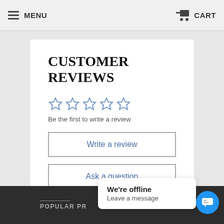MENU  CART
CUSTOMER REVIEWS
[Figure (other): Five empty star rating icons in blue outline style]
Be the first to write a review
Write a review
Ask a question
POPULAR PR
We're offline
Leave a message